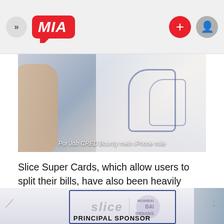MIA
[Figure (photo): Close-up photo of a person in a white saree with blue embroidery. Caption reads: Por Job CRED Bounty mein iPhone mile]
Slice Super Cards, which allow users to split their bills, have also been heavily advertised on digital and television media this year. It has managed to grab potential customers' attention too.
[Figure (screenshot): Partial view of Slice and Mumbai Indians principal sponsor branding image with decorative border]
Our website uses cookies to improve your experience. Learn more about: Cookie Policy
Accept
PRINCIPAL SPONSOR